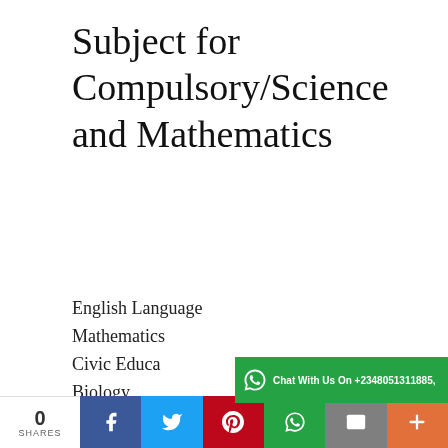Subject for Compulsory/Science and Mathematics
English Language
Mathematics
Civic Education
Biology
Chemistry
Physics
Further Maths
Health Education
Agricultural Science
Physical Education
[Figure (infographic): Green WhatsApp chat banner: Chat With Us On +2348051311885,]
[Figure (infographic): Social share bar with 0 SHARES count, Facebook, Twitter, Pinterest, WhatsApp, Email, and Plus buttons]